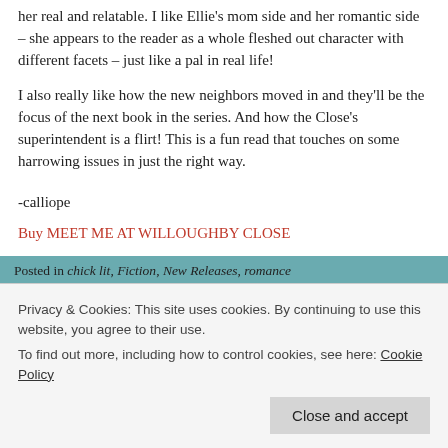her real and relatable. I like Ellie's mom side and her romantic side – she appears to the reader as a whole fleshed out character with different facets – just like a pal in real life!
I also really like how the new neighbors moved in and they'll be the focus of the next book in the series. And how the Close's superintendent is a flirt! This is a fun read that touches on some harrowing issues in just the right way.
-calliope
Buy MEET ME AT WILLOUGHBY CLOSE
Posted in chick lit, Fiction, New Releases, romance
Tagged bullying, Calliope, january 2017, kate hewitt, meet me at
Privacy & Cookies: This site uses cookies. By continuing to use this website, you agree to their use.
To find out more, including how to control cookies, see here: Cookie Policy
Close and accept